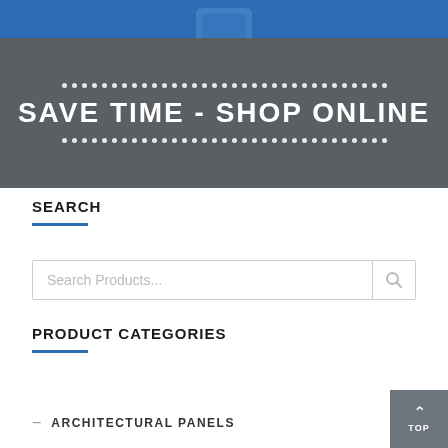[Figure (illustration): Promotional banner with blue top strip containing a phone icon, and dark gray main area with bold white text 'SAVE TIME - SHOP ONLINE' surrounded by rows of small white dots.]
SEARCH
[Figure (screenshot): Search input box with placeholder text 'Search Products...' and a magnifying glass icon on the right.]
PRODUCT CATEGORIES
ARCHITECTURAL PANELS